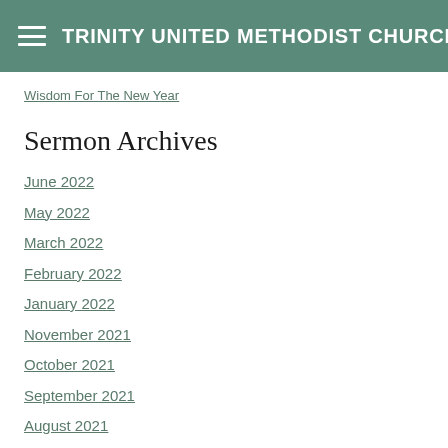TRINITY UNITED METHODIST CHURCH
Wisdom For The New Year
Sermon Archives
June 2022
May 2022
March 2022
February 2022
January 2022
November 2021
October 2021
September 2021
August 2021
July 2021
June 2021
May 2021